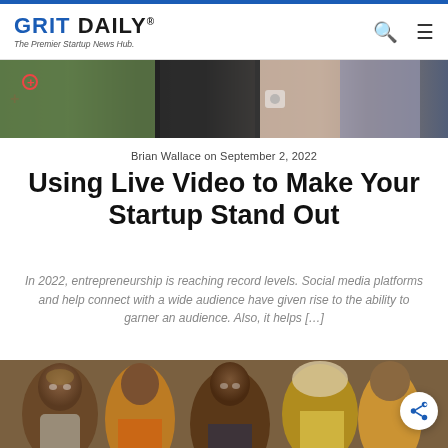GRIT DAILY® — The Premier Startup News Hub.
[Figure (photo): Top banner image showing partial collage of people and objects, cropped at top of article]
Brian Wallace on September 2, 2022
Using Live Video to Make Your Startup Stand Out
In 2022, entrepreneurship is reaching record levels. Social media platforms and help connect with a wide audience have given rise to the ability to garner an audience. Also, it helps […]
[Figure (photo): Photograph of a crowd of African people, including children and elderly women, looking forward, outdoor setting]